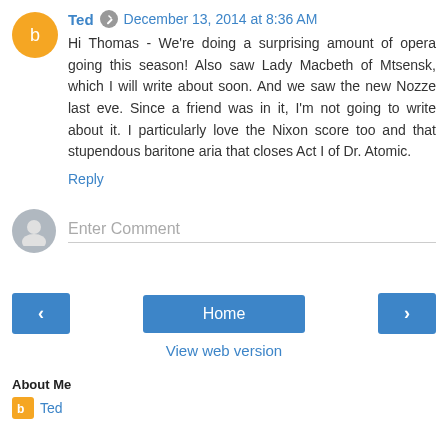Ted  December 13, 2014 at 8:36 AM
Hi Thomas - We're doing a surprising amount of opera going this season! Also saw Lady Macbeth of Mtsensk, which I will write about soon. And we saw the new Nozze last eve. Since a friend was in it, I'm not going to write about it. I particularly love the Nixon score too and that stupendous baritone aria that closes Act I of Dr. Atomic.
Reply
Enter Comment
Home
View web version
About Me
Ted